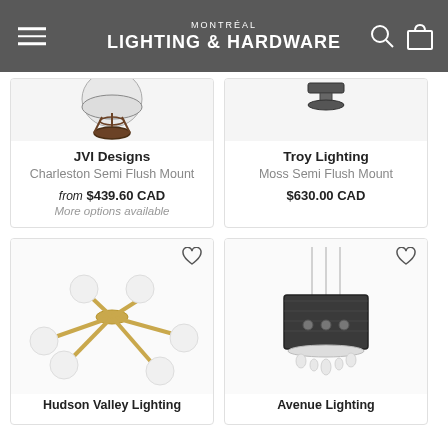MONTRÉAL LIGHTING & HARDWARE
[Figure (photo): JVI Designs Charleston Semi Flush Mount product image, partially cut off at top]
JVI Designs
Charleston Semi Flush Mount
from $439.60 CAD
More options available
[Figure (photo): Troy Lighting Moss Semi Flush Mount product image, partially cut off at top]
Troy Lighting
Moss Semi Flush Mount
$630.00 CAD
[Figure (photo): Hudson Valley Lighting product image - gold/brass sputnik-style semi flush mount with white globe bulbs]
Hudson Valley Lighting
[Figure (photo): Avenue Lighting product image - black drum shade pendant with crystal drops]
Avenue Lighting